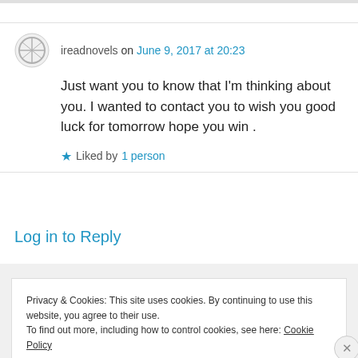ireadnovels on June 9, 2017 at 20:23
Just want you to know that I'm thinking about you. I wanted to contact you to wish you good luck for tomorrow hope you win .
Liked by 1 person
Log in to Reply
Privacy & Cookies: This site uses cookies. By continuing to use this website, you agree to their use. To find out more, including how to control cookies, see here: Cookie Policy
Close and accept